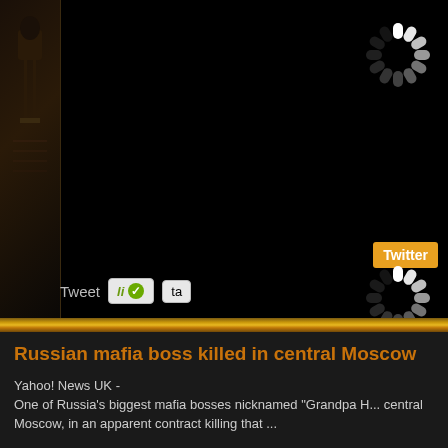[Figure (screenshot): Dark website screenshot with black background, loading spinners top-right, Twitter button, social sharing buttons (Tweet, like, ta), gold divider bar, and news article preview at bottom]
Russian mafia boss killed in central Moscow
Yahoo! News UK -
One of Russia's biggest mafia bosses nicknamed "Grandpa H... central Moscow, in an apparent contract killing that ...